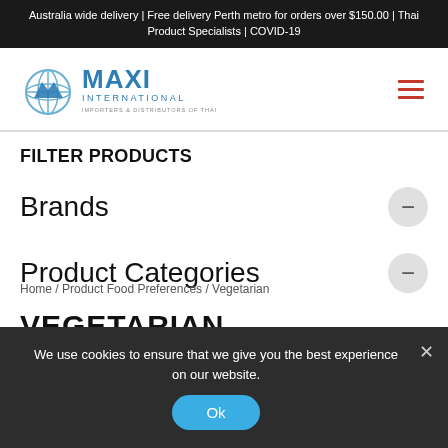Australia wide delivery | Free delivery Perth metro for orders over $150.00 | Thai Product Specialists | COVID-19
[Figure (logo): Maxi International logo — globe icon with blue text reading MAXI INTERNATIONAL, Importers & Distributors of Thai Products]
FILTER PRODUCTS
Brands −
Product Categories −
We use cookies to ensure that we give you the best experience on our website.
Home / Product Food Preferences / Vegetarian
VEGETARIAN